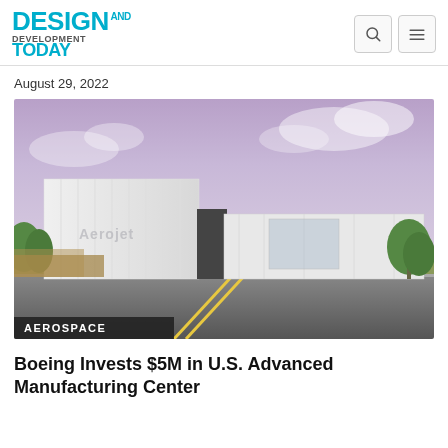DESIGN AND DEVELOPMENT TODAY
August 29, 2022
[Figure (photo): Architectural rendering of a modern white manufacturing facility building with 'Aerojet' signage, green lawn, road in foreground under a purple-tinted sky. AEROSPACE label overlaid at bottom left.]
Boeing Invests $5M in U.S. Advanced Manufacturing Center